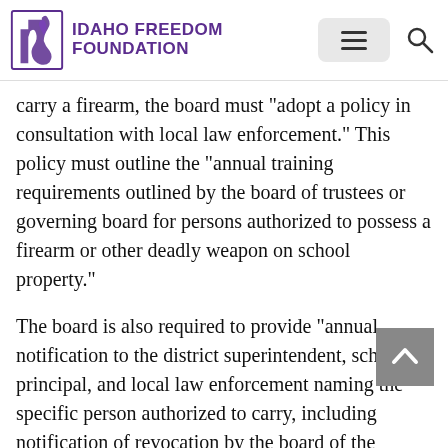Idaho Freedom Foundation
carry a firearm, the board must "adopt a policy in consultation with local law enforcement." This policy must outline the "annual training requirements outlined by the board of trustees or governing board for persons authorized to possess a firearm or other deadly weapon on school property."
The board is also required to provide "annual notification to the district superintendent, school principal, and local law enforcement naming the specific person authorized to carry, including notification of revocation by the board of the person's privileges."
The board is further required to provide "annual notification to parents and guardians that the board